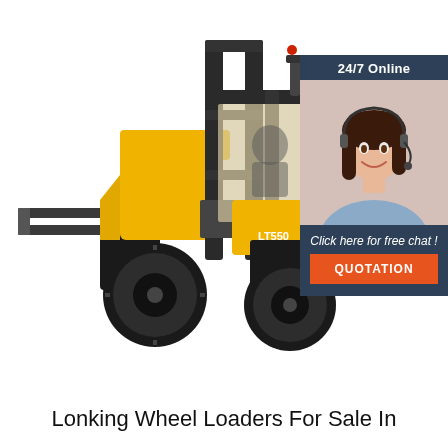[Figure (photo): Yellow and black forklift (model LT550) photographed against a white background, with forks extended forward and operator cab visible]
[Figure (infographic): Dark blue chat widget overlay showing '24/7 Online' label, photo of smiling woman with headset, 'Click here for free chat!' text, and orange 'QUOTATION' button]
Lonking Wheel Loaders For Sale In